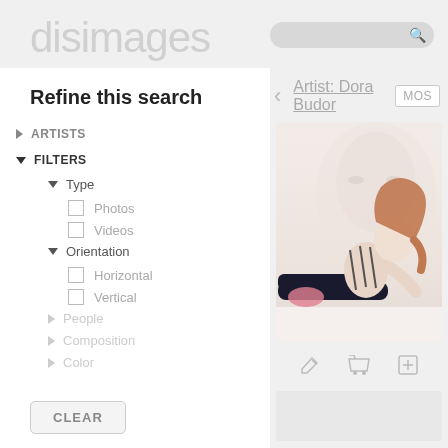disimages
Refine this search
ARTISTS
FILTERS
Type
Photos
Videos
Orientation
Horizontal
Vertical
People
Composition
Color
CLEAR
Artist: Dora Budor
MOS
[Figure (photo): Fashion photo of a woman with long auburn hair lying on a white surface, wearing black pants and a patterned top, with a large soft-focus face in the background]